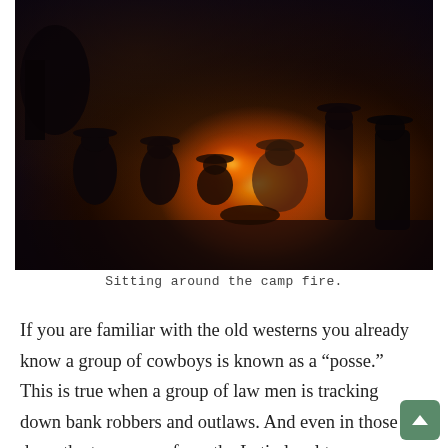[Figure (photo): A group of cowboys sitting around a campfire at night, illuminated by warm orange firelight against a dark background. Several people wearing cowboy hats are visible gathered around the flames.]
Sitting around the camp fire.
If you are familiar with the old westerns you already know a group of cowboys is known as a “posse.” This is true when a group of law men is tracking down bank robbers and outlaws. And even in those days, the term came from the Latin legal term “posse comitatus” meaning “force of the country